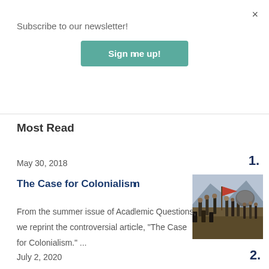×
Subscribe to our newsletter!
Sign me up!
Most Read
May 30, 2018
1.
The Case for Colonialism
[Figure (photo): Historical painting depicting a colonial battle scene with soldiers carrying flags and weapons]
From the summer issue of Academic Questions, we reprint the controversial article, "The Case for Colonialism." ...
July 2, 2020
2.